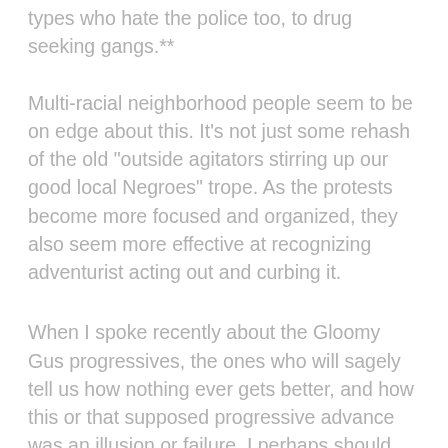types who hate the police too, to drug seeking gangs.**
Multi-racial neighborhood people seem to be on edge about this. It's not just some rehash of the old "outside agitators stirring up our good local Negroes" trope. As the protests become more focused and organized, they also seem more effective at recognizing adventurist acting out and curbing it.
When I spoke recently about the Gloomy Gus progressives, the ones who will sagely tell us how nothing ever gets better, and how this or that supposed progressive advance was an illusion or failure, I perhaps should have made clear I was talking to an element in myself too. My nature and life says the human condition is limited, even